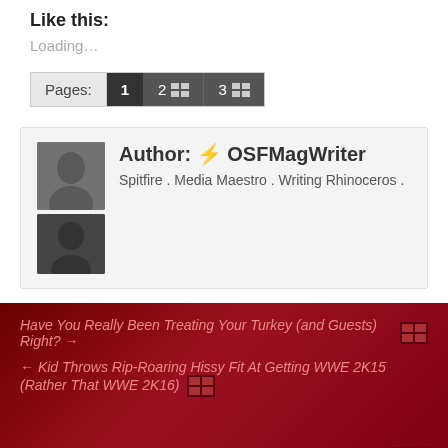Like this:
Loading…
Pages: 1 2 [grid] 3 [grid]
Author: ⚡ OSFMagWriter
Spitfire . Media Maestro . Writing Rhinoceros .
Have You Really Been Treating Your Turkey (and Guests) Right? →
← Kid Throws Rip-Roaring Hissy Fit At Getting WWE 2K15 (Rather That WWE 2K16)